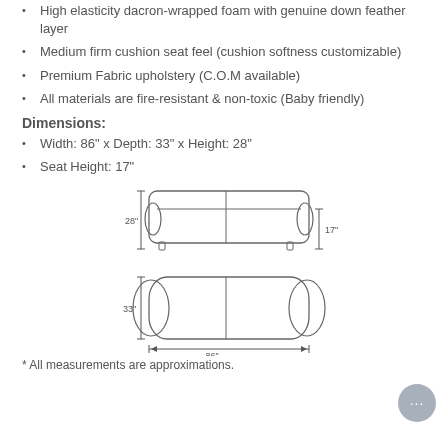High elasticity dacron-wrapped foam with genuine down feather layer
Medium firm cushion seat feel (cushion softness customizable)
Premium Fabric upholstery (C.O.M available)
All materials are fire-resistant & non-toxic (Baby friendly)
Dimensions:
Width: 86" x Depth: 33" x Height: 28"
Seat Height: 17"
[Figure (engineering-diagram): Sofa dimension diagram showing front elevation view with 28" height and 17" seat height marked with arrows, and top/plan view showing 33" depth and 86" width marked with arrows.]
* All measurements are approximations.